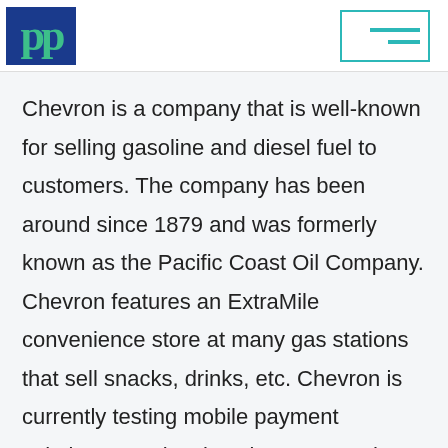PP [logo] | menu icon
Chevron is a company that is well-known for selling gasoline and diesel fuel to customers. The company has been around since 1879 and was formerly known as the Pacific Coast Oil Company. Chevron features an ExtraMile convenience store at many gas stations that sell snacks, drinks, etc. Chevron is currently testing mobile payment solutions at select locations across the United States. These stores may or may not accept Apple Pay at